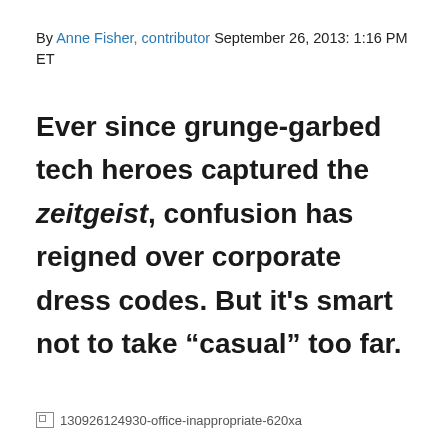By Anne Fisher, contributor September 26, 2013: 1:16 PM ET
Ever since grunge-garbed tech heroes captured the zeitgeist, confusion has reigned over corporate dress codes. But it’s smart not to take “casual” too far.
[Figure (photo): Broken image placeholder labeled 130926124930-office-inappropriate-620xa]